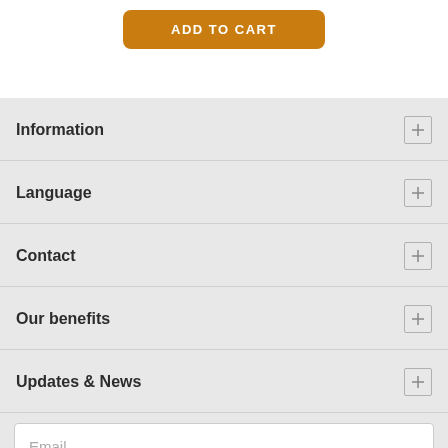ADD TO CART
Information
Language
Contact
Our benefits
Updates & News
Email